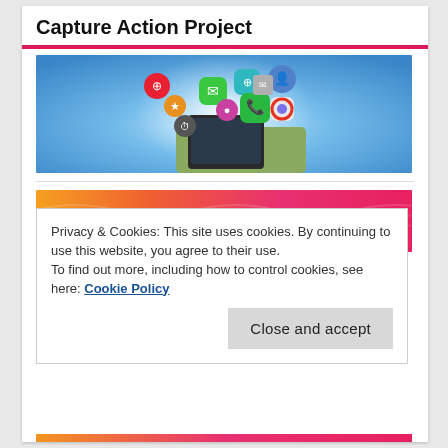Capture Action Project
[Figure (photo): A hand holding a smartphone with colorful app icons floating above it on a blue background]
[Figure (photo): Colorful orange-to-pink gradient background with a black circular shape at the bottom left, partially visible]
Privacy & Cookies: This site uses cookies. By continuing to use this website, you agree to their use.
To find out more, including how to control cookies, see here: Cookie Policy
Close and accept